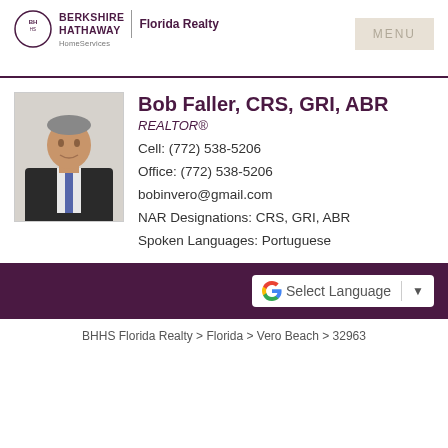[Figure (logo): Berkshire Hathaway HomeServices Florida Realty logo with circular emblem and vertical divider]
Bob Faller, CRS, GRI, ABR
REALTOR®
Cell: (772) 538-5206
Office: (772) 538-5206
bobinvero@gmail.com
NAR Designations: CRS, GRI, ABR
Spoken Languages: Portuguese
[Figure (photo): Headshot photo of Bob Faller in dark suit]
Select Language
BHHS Florida Realty > Florida > Vero Beach > 32963